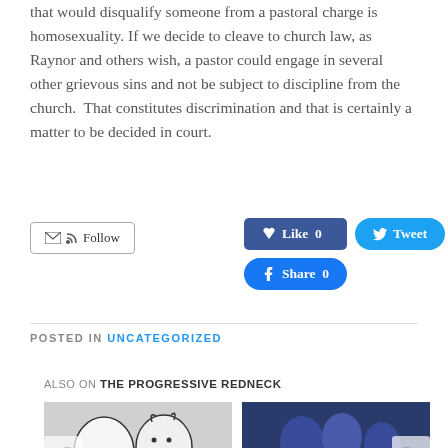that would disqualify someone from a pastoral charge is homosexuality. If we decide to cleave to church law, as Raynor and others wish, a pastor could engage in several other grievous sins and not be subject to discipline from the church.  That constitutes discrimination and that is certainly a matter to be decided in court.
Follow  Like 0  Tweet  Share 0
POSTED IN UNCATEGORIZED
ALSO ON THE PROGRESSIVE REDNECK
[Figure (photo): Black and white cartoon illustration showing two characters, with caption text '6 years ago • 1 comment']
[Figure (photo): Photo of people at an event holding a 'KEEP NC' sign, with caption '6 years ago • 1 comment' and title 'A Few Thoughts']